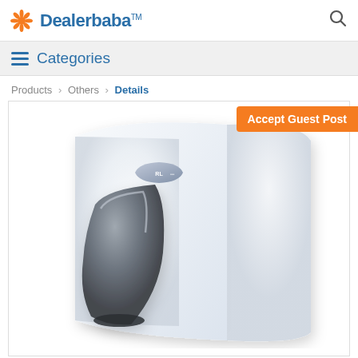Dealerbaba™
≡  Categories
Products › Others › Details
Accept Guest Post
[Figure (photo): White hand dryer product photo with a silver/chrome nozzle outlet, shown from a front-angled perspective on a white background.]